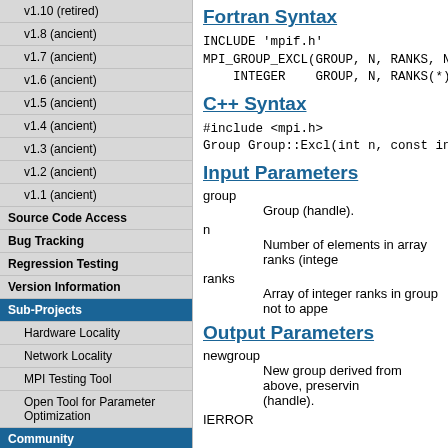v1.10 (retired)
v1.8 (ancient)
v1.7 (ancient)
v1.6 (ancient)
v1.5 (ancient)
v1.4 (ancient)
v1.3 (ancient)
v1.2 (ancient)
v1.1 (ancient)
Source Code Access
Bug Tracking
Regression Testing
Version Information
Sub-Projects
Hardware Locality
Network Locality
MPI Testing Tool
Open Tool for Parameter Optimization
Community
Mailing Lists
Getting Help/Support
Contribute
Contact
License
Fortran Syntax
INCLUDE 'mpif.h'
MPI_GROUP_EXCL(GROUP, N, RANKS, NEWG
    INTEGER    GROUP, N, RANKS(*), N
C++ Syntax
#include <mpi.h>
Group Group::Excl(int n, const int r
Input Parameters
group
        Group (handle).
n
        Number of elements in array ranks (intege
ranks
        Array of integer ranks in group not to appe
Output Parameters
newgroup
        New group derived from above, preservin
        (handle).
IFERROR